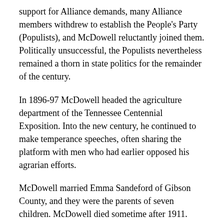support for Alliance demands, many Alliance members withdrew to establish the People's Party (Populists), and McDowell reluctantly joined them. Politically unsuccessful, the Populists nevertheless remained a thorn in state politics for the remainder of the century.
In 1896-97 McDowell headed the agriculture department of the Tennessee Centennial Exposition. Into the new century, he continued to make temperance speeches, often sharing the platform with men who had earlier opposed his agrarian efforts.
McDowell married Emma Sandeford of Gibson County, and they were the parents of seven children. McDowell died sometime after 1911.
Citation Information